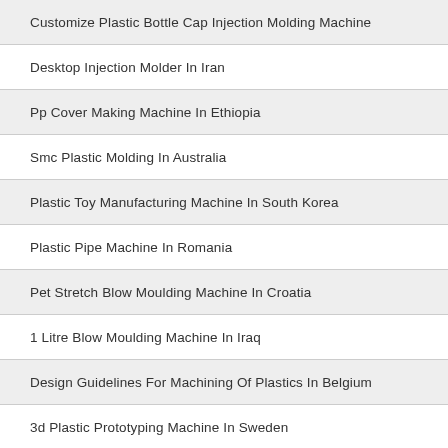Customize Plastic Bottle Cap Injection Molding Machine
Desktop Injection Molder In Iran
Pp Cover Making Machine In Ethiopia
Smc Plastic Molding In Australia
Plastic Toy Manufacturing Machine In South Korea
Plastic Pipe Machine In Romania
Pet Stretch Blow Moulding Machine In Croatia
1 Litre Blow Moulding Machine In Iraq
Design Guidelines For Machining Of Plastics In Belgium
3d Plastic Prototyping Machine In Sweden